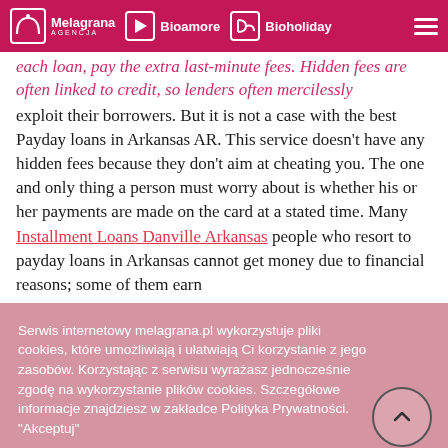Melagrana | Bioamore | Bioholiday
each loan, pay the extra last-minute fees. Hidden fees are often linked to credit, so lenders often mercilessly exploit their borrowers. But it is not a case with the best Payday loans in Arkansas AR. This service doesn't have any hidden fees because they don't aim at cheating you. The one and only thing a person must worry about is whether his or her payments are made on the card at a stated time. Many Installment Loans Danville Arkansas people who resort to payday loans in Arkansas cannot get money due to financial reasons; some of them earn
Serwis internetowy melagrana.pl wykorzystuje pliki cookies, które umożliwiają i ułatwiają Ci korzystanie z jego zasobów. Korzystając z serwisu wyrażasz jednocześnie zgodę na wykorzystanie plików cookies. Szczegółowe informacje znajdziesz w zakładce Polityka Prywatności. "Akceptuj"
Cookie settings | AKCEPTUJ